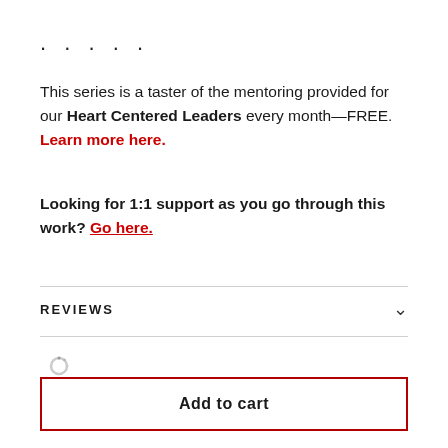. . . . .
This series is a taster of the mentoring provided for our Heart Centered Leaders every month—FREE. Learn more here.
Looking for 1:1 support as you go through this work? Go here.
REVIEWS
[Figure (other): Loading spinner icon]
Add to cart